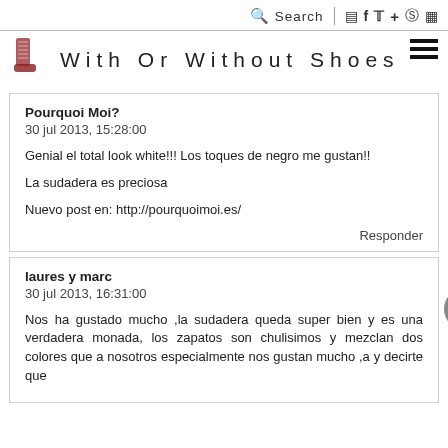Search
With Or Without Shoes
Pourquoi Moi?
30 jul 2013, 15:28:00

Genial el total look white!!! Los toques de negro me gustan!!

La sudadera es preciosa

Nuevo post en: http://pourquoimoi.es/

Responder
laures y marc
30 jul 2013, 16:31:00

Nos ha gustado mucho ,la sudadera queda super bien y es una verdadera monada, los zapatos son chulisimos y mezclan dos colores que a nosotros especialmente nos gustan mucho ,a y decirte que